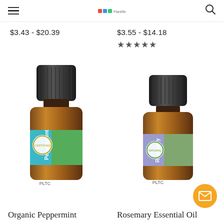Navigation bar with hamburger menu, logo, and search icon
$3.43 - $20.39
$3.55 - $14.18
★★★★★
[Figure (photo): Amber glass bottle of Organic Peppermint essential oil with black ridged cap and teal/cyan label with peppermint leaf imagery and a certification stamp]
[Figure (photo): Amber glass bottle of Rosemary Essential Oil with black ridged cap and lavender/purple label with rosemary herb imagery and a certification stamp]
Organic Peppermint
Rosemary Essential Oil